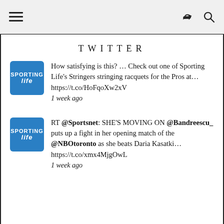TWITTER
How satisfying is this? … Check out one of Sporting Life's Stringers stringing racquets for the Pros at… https://t.co/HoFqoXw2xV 1 week ago
RT @Sportsnet: SHE'S MOVING ON @Bandreescu_ puts up a fight in her opening match of the @NBOtoronto as she beats Daria Kasatki… https://t.co/xmx4MjgOwL 1 week ago